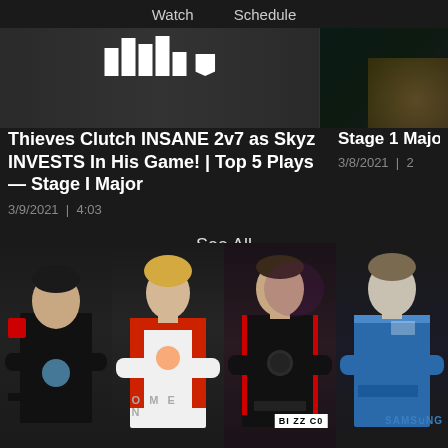Watch   Schedule
[Figure (screenshot): Video thumbnail strip showing two video thumbnails side by side]
Thieves Clutch INSANE 2v7 as Skyz INVESTS In His Game! | Top 5 Plays — Stage I Major
3/9/2021  |  4:03
Stage 1 Majo
3/8/2021  |  2
See All
[Figure (photo): Four esports players shown from waist up in team jerseys: Cloud9 player, OMEN/OWL player, black jersey player, Samsung blue jersey player]